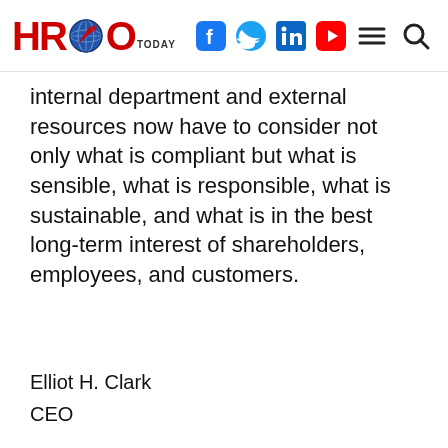HRO Today [logo with globe, social icons: Facebook, Twitter, LinkedIn, YouTube, hamburger menu, search]
internal department and external resources now have to consider not only what is compliant but what is sensible, what is responsible, what is sustainable, and what is in the best long-term interest of shareholders, employees, and customers.
Elliot H. Clark
CEO